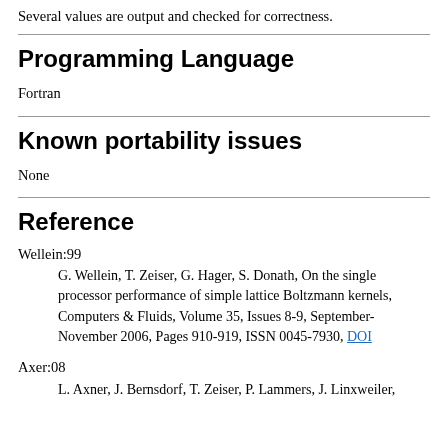Several values are output and checked for correctness.
Programming Language
Fortran
Known portability issues
None
Reference
Wellein:99
G. Wellein, T. Zeiser, G. Hager, S. Donath, On the single processor performance of simple lattice Boltzmann kernels, Computers & Fluids, Volume 35, Issues 8-9, September-November 2006, Pages 910-919, ISSN 0045-7930, DOI
Axer:08
L. Axner, J. Bernsdorf, T. Zeiser, P. Lammers, J. Linxweiler,